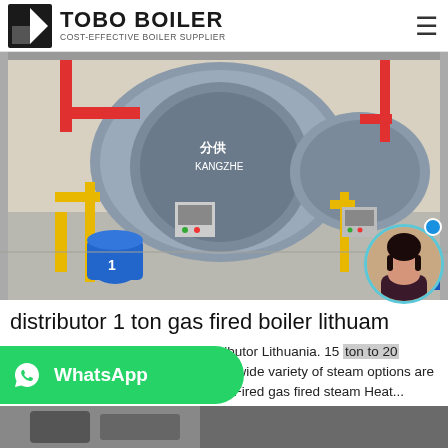TOBO BOILER — COST-EFFECTIVE BOILER SUPPLIER
[Figure (photo): Industrial gas-fired boilers in a factory/showroom setting. Multiple large cylindrical boilers with yellow and red pipe fittings, blue water treatment tanks, and control panels visible.]
distributor 1 ton gas fired boiler lithuania
2 Ton Oil Powered Boiler Plant Distributor Lithuania. 15 ton to 20 boiler. steam steam Suppliers and - A wide variety of steam options are available to you such as Natural Gas Fired gas fired steam Heat...
[Figure (photo): Partial view of another boiler or industrial equipment at the bottom of the page (cropped).]